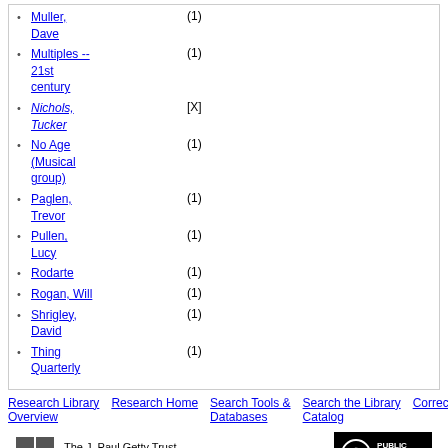Muller, Dave (1)
Multiples -- 21st century (1)
Nichols, Tucker [X]
No Age (Musical group) (1)
Paglen, Trevor (1)
Pullen, Lucy (1)
Rodarte (1)
Rogan, Will (1)
Shrigley, David (1)
Thing Quarterly (1)
Research Library Overview | Research Home | Search Tools & Databases | Search the Library Catalog | Correction Form
The J. Paul Getty Trust © J. Paul Getty Trust | Privacy Policy | Terms of Use | Public Domain